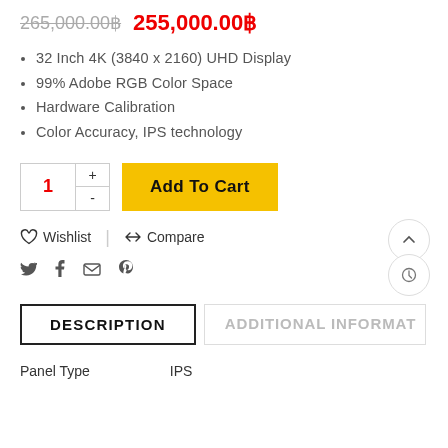265,000.00฿  255,000.00฿
32 Inch 4K (3840 x 2160) UHD Display
99% Adobe RGB Color Space
Hardware Calibration
Color Accuracy, IPS technology
1  Add To Cart
Wishlist  |  Compare
social icons: twitter, facebook, email, pinterest
DESCRIPTION  ADDITIONAL INFORMATION
| Panel Type | IPS |
| --- | --- |